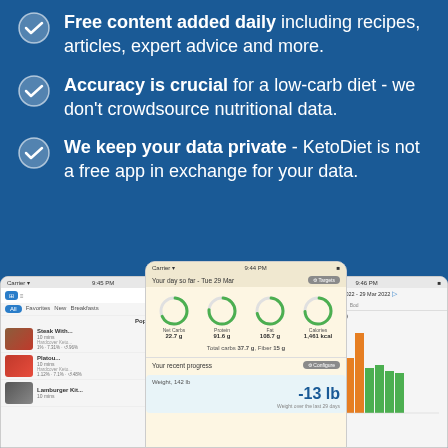Free content added daily including recipes, articles, expert advice and more.
Accuracy is crucial for a low-carb diet - we don't crowdsource nutritional data.
We keep your data private - KetoDiet is not a free app in exchange for your data.
[Figure (screenshot): Three overlapping mobile app screenshots showing KetoDiet app: left screen shows recipe list with food photos, center screen shows daily nutrition tracking with circular progress rings for Net Carbs 22.7g, Protein 91.6g, Fat 108.7g, Calories 1,461 kcal and recent progress showing -13 lb weight loss, right screen shows a bar chart of Carbs vs Carbs Limit in grams with green and orange bars.]